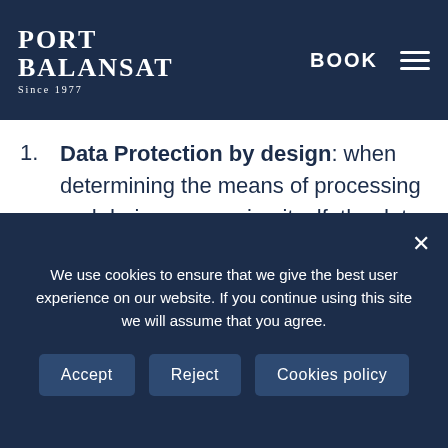Port Balansat — BOOK
guide and frame of reference for all of its staff, with regard to the protection of personal data:
Data Protection by design: when determining the means of processing and during processing itself, the data controller shall apply appropriate technical and organisational measures, such as pseudonymisation, designed to effectively implement the principles of data protection,
We use cookies to ensure that we give the best user experience on our website. If you continue using this site we will assume that you agree.